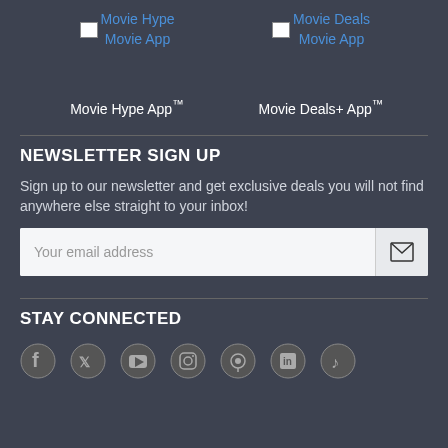[Figure (screenshot): Two app links side by side: 'Movie Hype Movie App' (broken image icon + blue link text) and 'Movie Deals Movie App' (broken image icon + blue link text)]
Movie Hype App™
Movie Deals+ App™
NEWSLETTER SIGN UP
Sign up to our newsletter and get exclusive deals you will not find anywhere else straight to your inbox!
[Figure (screenshot): Email input field with placeholder 'Your email address' and a send/envelope button on the right]
STAY CONNECTED
[Figure (screenshot): Row of social media icons: Facebook, Twitter/X, YouTube, Instagram, and others (partially visible at bottom)]